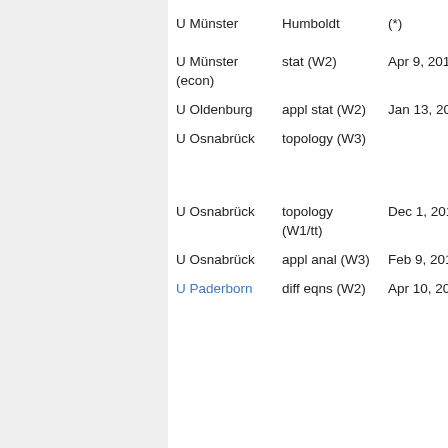| Institution | Field | Date |
| --- | --- | --- |
| U Münster | Humboldt | (*) |
| U Münster (econ) | stat (W2) | Apr 9, 2012 |
| U Oldenburg | appl stat (W2) | Jan 13, 2012 |
| U Osnabrück | topology (W3) |  |
| U Osnabrück | topology (W1/tt) | Dec 1, 2011 |
| U Osnabrück | appl anal (W3) | Feb 9, 2012 |
| U Paderborn | diff eqns (W2) | Apr 10, 2010 |